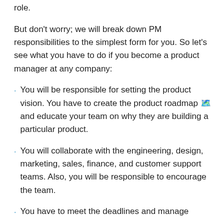role.
But don't worry; we will break down PM responsibilities to the simplest form for you. So let's see what you have to do if you become a product manager at any company:
You will be responsible for setting the product vision. You have to create the product roadmap 🗺️ and educate your team on why they are building a particular product.
You will collaborate with the engineering, design, marketing, sales, finance, and customer support teams. Also, you will be responsible to encourage the team.
You have to meet the deadlines and manage